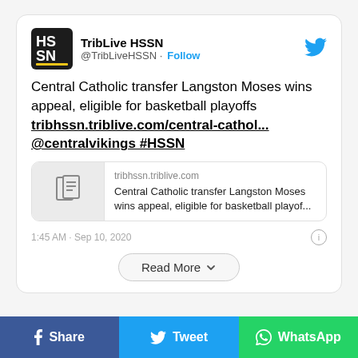[Figure (screenshot): Tweet card from TribLive HSSN (@TribLiveHSSN) with Follow button and Twitter bird icon. Tweet reads: Central Catholic transfer Langston Moses wins appeal, eligible for basketball playoffs tribhssn.triblive.com/central-cathol... @centralvikings #HSSN. Includes article preview card with document icon, domain tribhssn.triblive.com, and truncated title. Timestamp: 1:45 AM · Sep 10, 2020. Read More button below.]
TribLive HSSN @TribLiveHSSN · Follow
Central Catholic transfer Langston Moses wins appeal, eligible for basketball playoffs tribhssn.triblive.com/central-cathol... @centralvikings #HSSN
tribhssn.triblive.com
Central Catholic transfer Langston Moses wins appeal, eligible for basketball playof...
1:45 AM · Sep 10, 2020
Read More
Share  Tweet  WhatsApp